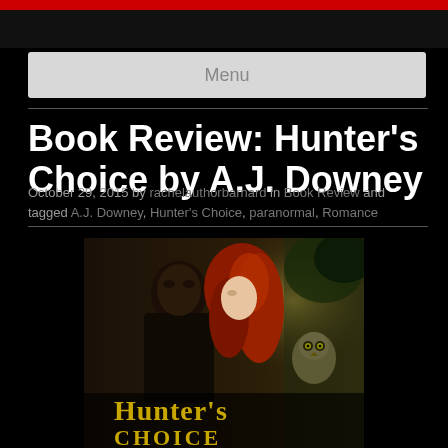Menu
Book Review: Hunter's Choice by A.J. Downey
October 29, 2015 by rachelauthorbarnard in Book Review and tagged A.J. Downey, Hunter's Choice, paranormal, Romance
[Figure (illustration): Book cover for Hunter's Choice by A.J. Downey showing a couple about to kiss, the woman with red hair, and an owl in the background. Title text 'Hunter's Choice' visible at bottom of cover.]